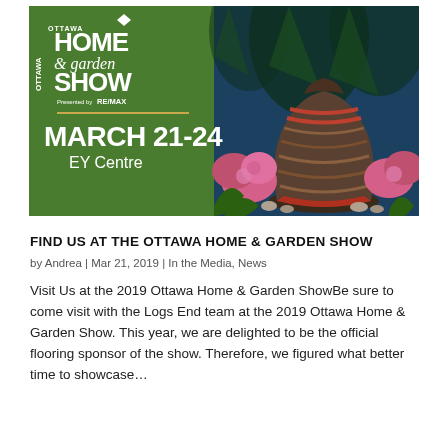[Figure (photo): Ottawa Home & Garden Show promotional banner. Left side has green background with Ottawa Home & Garden Show logo (presented by RE/MAX), a horizontal gold line, MARCH 21-24 in large white text, and EY Centre below. Right side shows a photo of a large decorative striped vase/urn surrounded by pink flowers and green plants.]
FIND US AT THE OTTAWA HOME & GARDEN SHOW
by Andrea | Mar 21, 2019 | In the Media, News
Visit Us at the 2019 Ottawa Home & Garden ShowBe sure to come visit with the Logs End team at the 2019 Ottawa Home & Garden Show. This year, we are delighted to be the official flooring sponsor of the show. Therefore, we figured what better time to showcase…